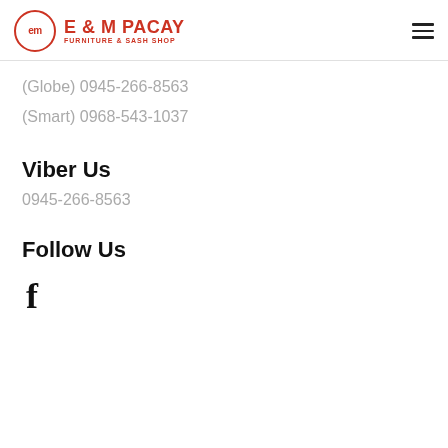E & M PACAY FURNITURE & SASH SHOP
(Globe) 0945-266-8563
(Smart) 0968-543-1037
Viber Us
0945-266-8563
Follow Us
[Figure (logo): Facebook icon (f)]